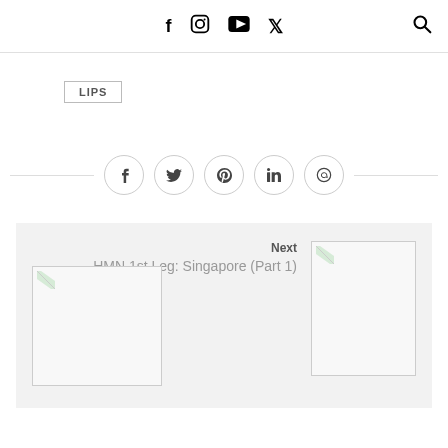f  [instagram]  [youtube]  y  [search]
LIPS
[Figure (infographic): Social share icons row: facebook, twitter, pinterest, linkedin, whatsapp — each in a circle, with horizontal lines on either side]
[Figure (infographic): Post navigation block with Next (HMN 1st Leg: Singapore (Part 1)) and Previous (Bobbi Brown 10 Step Makeup Lesson) with thumbnail placeholders]
Next
HMN 1st Leg: Singapore (Part 1)
Previous
Bobbi Brown 10 Step Makeup Lesson